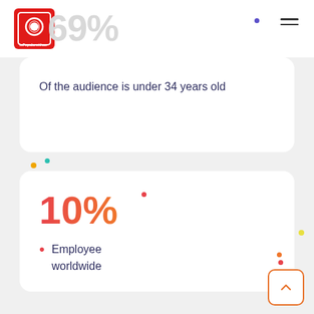[Figure (logo): Company logo: red square with circular element, text below]
69%
Of the audience is under 34 years old
10%
Employee worldwide